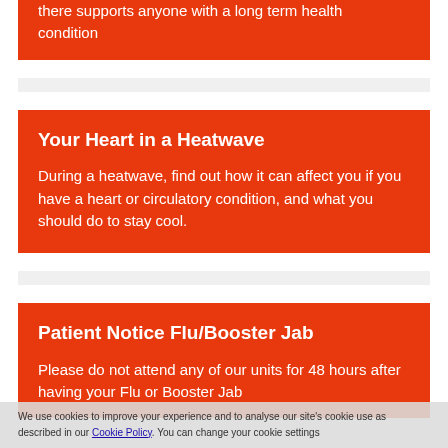there supports anyone with a long term health condition
Your Heart in a Heatwave
During a heatwave, find out how it can affect you if you have a heart or circulatory condition, and what you should do to stay cool.
Patient Notice Flu/Booster Jab
Please do not attend any of our units for 48 hours after having your Flu or Booster Jab